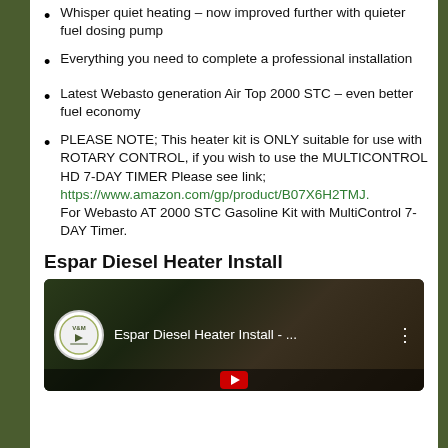Whisper quiet heating – now improved further with quieter fuel dosing pump
Everything you need to complete a professional installation
Latest Webasto generation Air Top 2000 STC – even better fuel economy
PLEASE NOTE; This heater kit is ONLY suitable for use with ROTARY CONTROL, if you wish to use the MULTICONTROL HD 7-DAY TIMER Please see link; https://www.amazon.com/gp/product/B07X6H2TMJ. For Webasto AT 2000 STC Gasoline Kit with MultiControl 7-DAY Timer.
Espar Diesel Heater Install
[Figure (screenshot): YouTube video thumbnail showing Espar Diesel Heater Install video with channel logo and dark background showing hands working on equipment]